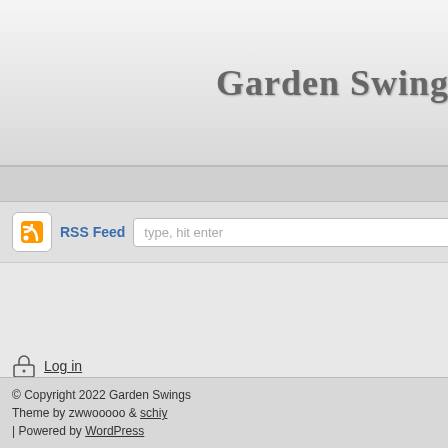Garden Swings
Home
RSS Feed  type, hit enter
Log in
© Copyright 2022 Garden Swings
Theme by zwwooooo & schiy
| Powered by WordPress
Home › brands › Rio Bra...
24
Apr
Rio Brands
Chair with
admin  b...
[Figure (photo): Blue folding beach/lounge chair with metal frame, shown from the back, partially cropped]